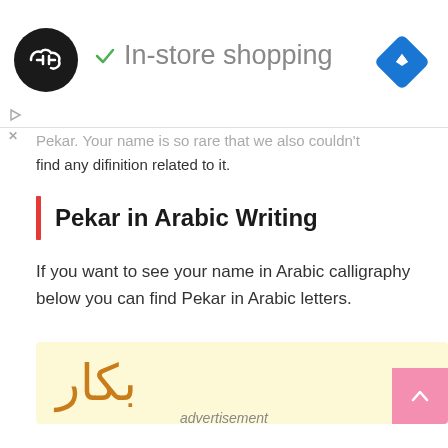[Figure (infographic): Ad bar with circular logo (black circle with double arrow icon), checkmark icon followed by 'In-store shopping' text in grey, and blue diamond navigation icon on right. Small play and X icons on left side.]
Pekar. Your name is so rare that we also couldn't find any difinition related to it.
Pekar in Arabic Writing
If you want to see your name in Arabic calligraphy below you can find Pekar in Arabic letters.
[Figure (illustration): Yellow/cream background box displaying the Arabic calligraphy text for 'Pekar' (بكار) in orange/brown color, with a pink scroll-to-top button with upward chevron at the bottom right corner.]
advertisement